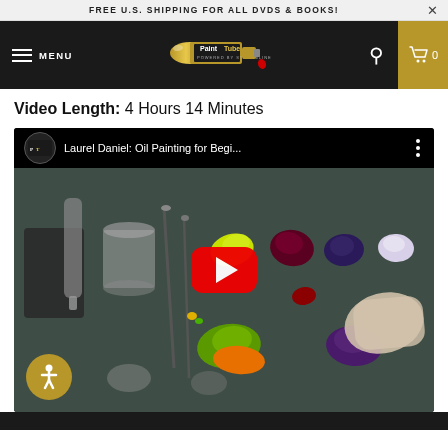FREE U.S. SHIPPING FOR ALL DVDS & BOOKS!
[Figure (screenshot): PaintTube website navigation bar with hamburger menu, PaintTube logo, search icon, and cart icon showing 0 items on dark background. Gold cart box on right.]
Video Length: 4 Hours 14 Minutes
[Figure (screenshot): YouTube embedded video thumbnail showing 'Laurel Daniel: Oil Painting for Begi...' with paint swatches on a gray surface, a gloved hand mixing colors, brushes, paint tubes, and a red YouTube play button in the center. A gold accessibility icon in the bottom left.]